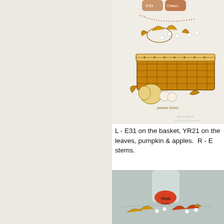[Figure (photo): Top image showing a hand-colored illustration of an autumn harvest basket with leaves, pumpkins, and apples, with Copic marker caps (E33 and another) visible at the top.]
L - E31 on the basket, YR21 on the leaves, pumpkin & apples.  R - E... stems.
[Figure (photo): Bottom image showing a Copic marker labeled YR18 in red/orange cap, and a partial view of another autumn leaves illustration below it.]